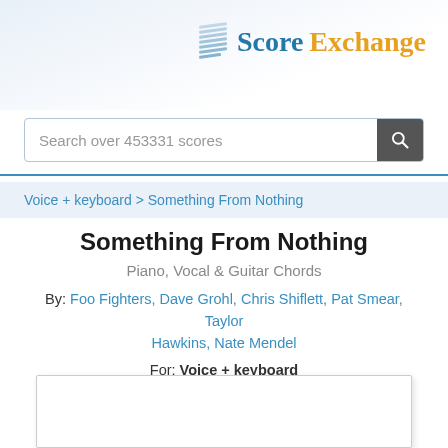[Figure (logo): Score Exchange logo with musical score icon, 'Score' in blue and 'Exchange' in orange/gold]
Search over 453331 scores
Voice + keyboard > Something From Nothing
Something From Nothing
Piano, Vocal & Guitar Chords
By: Foo Fighters, Dave Grohl, Chris Shiflett, Pat Smear, Taylor Hawkins, Nate Mendel
For: Voice + keyboard
[Figure (other): White sheet music preview area (blank white box)]